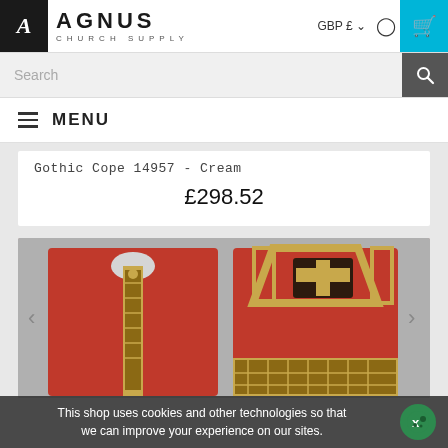[Figure (logo): Agnus Church Supply logo with black box containing letter A and company name text]
GBP £
[Figure (screenshot): Search bar with placeholder text 'Search' and search icon button]
MENU
Gothic Cope 14957 - Cream
£298.52
[Figure (photo): Red Gothic Cope vestment showing front and back views with gold cross embroidery on dark background]
This shop uses cookies and other technologies so that we can improve your experience on our sites.